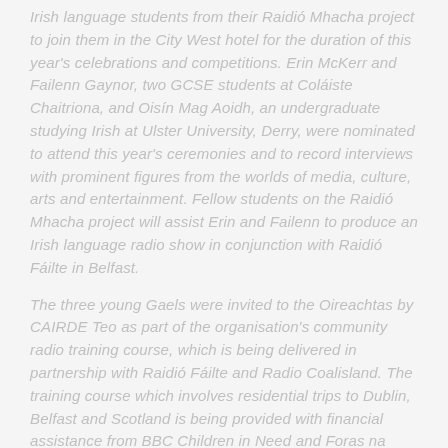Irish language students from their Raidió Mhacha project to join them in the City West hotel for the duration of this year's celebrations and competitions. Erin McKerr and Failenn Gaynor, two GCSE students at Coláiste Chaitriona, and Oisín Mag Aoidh, an undergraduate studying Irish at Ulster University, Derry, were nominated to attend this year's ceremonies and to record interviews with prominent figures from the worlds of media, culture, arts and entertainment. Fellow students on the Raidió Mhacha project will assist Erin and Failenn to produce an Irish language radio show in conjunction with Raidió Fáilte in Belfast.
The three young Gaels were invited to the Oireachtas by CAIRDE Teo as part of the organisation's community radio training course, which is being delivered in partnership with Raidió Fáilte and Radio Coalisland. The training course which involves residential trips to Dublin, Belfast and Scotland is being provided with financial assistance from BBC Children in Need and Foras na Gaeilge.